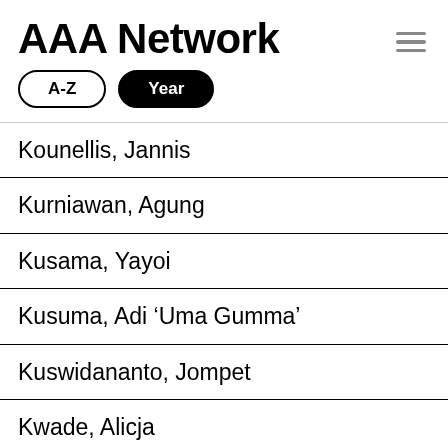AAA Network
A-Z
Year
Kounellis, Jannis
Kurniawan, Agung
Kusama, Yayoi
Kusuma, Adi 'Uma Gumma'
Kuswidananto, Jompet
Kwade, Alicja
Langberg, Doron
Langdon-Pole, Zac